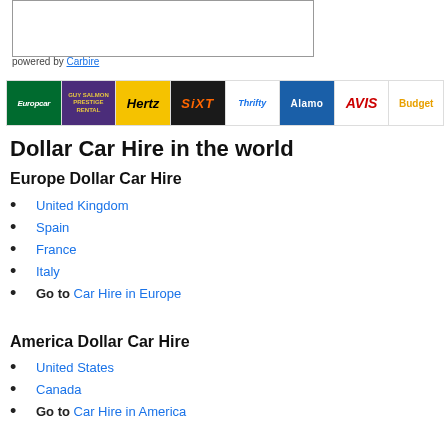[Figure (other): White box with border, likely a search/booking widget area]
powered by Carbire
[Figure (other): Row of car hire brand logos: Europcar, Guy Salmon, Hertz, Sixt, Thrifty, Alamo, Avis, Budget]
Dollar Car Hire in the world
Europe Dollar Car Hire
United Kingdom
Spain
France
Italy
Go to Car Hire in Europe
America Dollar Car Hire
United States
Canada
Go to Car Hire in America